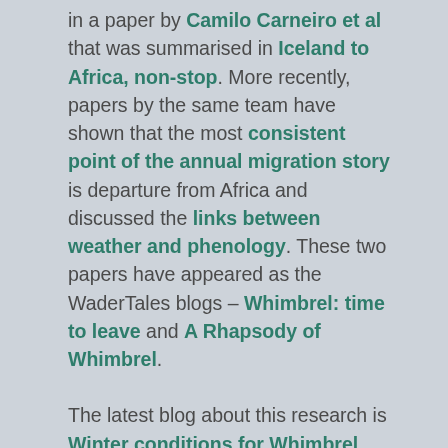in a paper by Camilo Carneiro et al that was summarised in Iceland to Africa, non-stop. More recently, papers by the same team have shown that the most consistent point of the annual migration story is departure from Africa and discussed the links between weather and phenology. These two papers have appeared as the WaderTales blogs – Whimbrel: time to leave and A Rhapsody of Whimbrel.
The latest blog about this research is Winter conditions for Whimbrel, based on a paper that assesses the influence of winter conditions on subsequent breeding performance.
Searching for Black-tailed Godwits